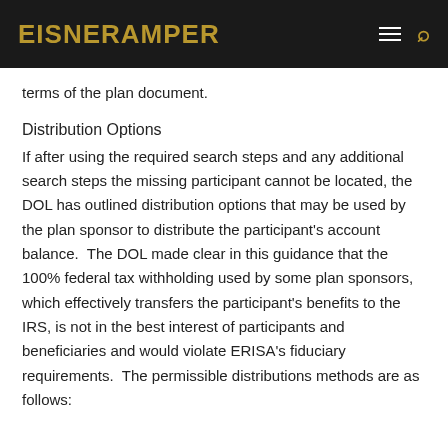EisnerAmper
terms of the plan document.
Distribution Options
If after using the required search steps and any additional search steps the missing participant cannot be located, the DOL has outlined distribution options that may be used by the plan sponsor to distribute the participant's account balance.  The DOL made clear in this guidance that the 100% federal tax withholding used by some plan sponsors, which effectively transfers the participant's benefits to the IRS, is not in the best interest of participants and beneficiaries and would violate ERISA's fiduciary requirements.  The permissible distributions methods are as follows: